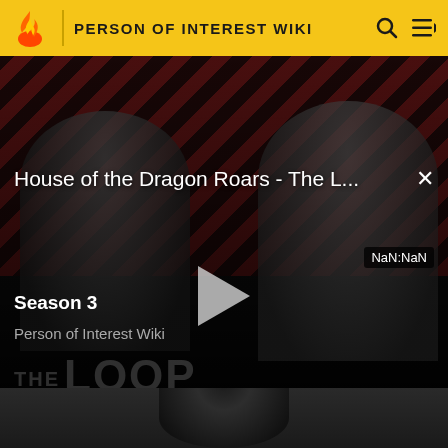PERSON OF INTEREST WIKI
[Figure (screenshot): Video player overlay showing 'House of the Dragon Roars - The L...' with diagonal red and black striped background, two dark silhouetted figures, a grey play button triangle in the center, close X button top right, 'THE LOOP' text watermark, and 'NaN:NaN' duration badge bottom right]
Season 3
Person of Interest Wiki
[Figure (photo): Bottom portion of page showing top of a person's head with dark hair against a dark grey background]